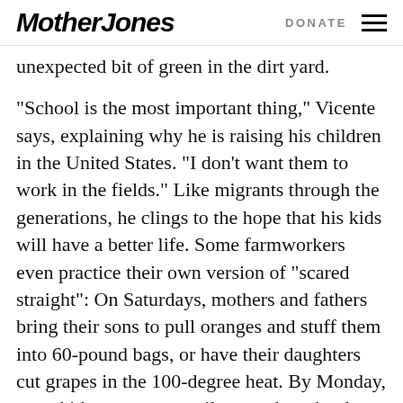Mother Jones | DONATE
unexpected bit of green in the dirt yard.
“School is the most important thing,” Vicente says, explaining why he is raising his children in the United States. “I don’t want them to work in the fields.” Like migrants through the generations, he clings to the hope that his kids will have a better life. Some farmworkers even practice their own version of “scared straight”: On Saturdays, mothers and fathers bring their sons to pull oranges and stuff them into 60-pound bags, or have their daughters cut grapes in the 100-degree heat. By Monday, most kids are eager to pile onto the school bus.
Though every farming town in the Valley has